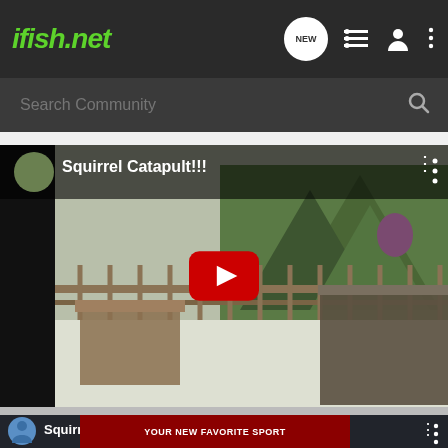ifish.net
Search Community
[Figure (screenshot): YouTube video thumbnail showing 'Squirrel Catapult!!!' video with winter backyard scene, snowy deck with wooden furniture and trees in background, YouTube play button overlay]
[Figure (screenshot): YouTube video thumbnail showing 'Squirrel Launching / Squirrel Catapul...' video with advertisement overlay reading 'YOUR NEW FAVORITE SPORT - EXPLORE HOW TO RESPONSIBLY PARTICIPATE IN THE SHOOTING SPORTS. START HERE!']